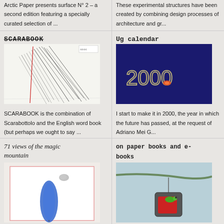Arctic Paper presents surface N° 2 – a second edition featuring a specially curated selection of ...
These experimental structures have been created by combining design processes of architecture and gr...
SCARABOOK
Ug calendar
[Figure (illustration): Sketch-like drawing with thin black lines and a red vertical line on white paper background]
[Figure (illustration): Dark blue background with glowing text '2000' and a small red/orange element]
SCARABOOK is the combination of Scarabottolo and the English word book (but perhaps we ought to say ...
I start to make it in 2000, the year in which the future has passed, at the request of Adriano Mei G...
71 views of the magic mountain
on paper books and e-books
[Figure (illustration): White background with a blue elongated leaf/feather shape and small grey stone, framed with pink border]
[Figure (illustration): Light blue background with a book hanging from a branch like a teabag, with a green worm and red book]
In the days of the first lockdown I started making these drawings, remotely...
these drawings were made thinking about what is happening to the books...